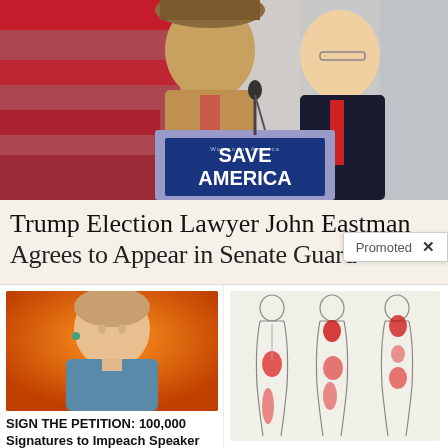[Figure (photo): Two men speaking at a podium with a 'Save America' sign, with American flag background]
Trump Election Lawyer John Eastman
Promoted
[Figure (photo): Photo of Nancy Pelosi]
SIGN THE PETITION: 100,000 Signatures to Impeach Speaker Nancy Pelosi
59,671
[Figure (illustration): Medical illustration of human body figures showing sciatic nerve pain areas highlighted in red]
Suffering From Chronic Sciatic Nerve Pain? Here's A Secret You Need To Know
92,157